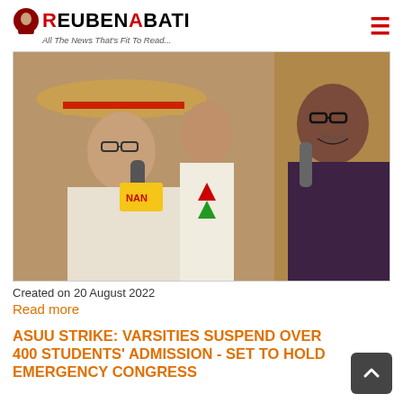ReubenAbati — All The News That's Fit To Read...
[Figure (photo): Two men facing each other, one wearing a traditional straw hat with red band and holding a microphone near a yellow NAN mic, the other in a dark shirt smiling, with a yellow background visible.]
Created on 20 August 2022
Read more
ASUU STRIKE: VARSITIES SUSPEND OVER 400 STUDENTS' ADMISSION - SET TO HOLD EMERGENCY CONGRESS